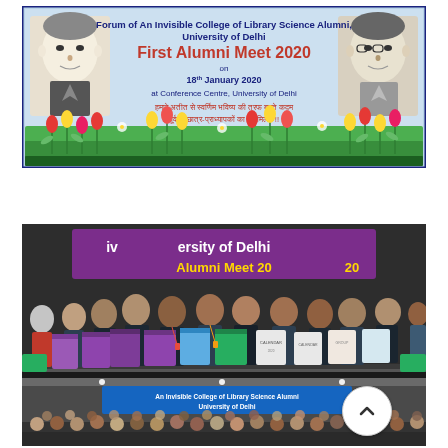[Figure (infographic): Event poster/banner for 'Forum of An Invisible College of Library Science Alumni, University of Delhi — First Alumni Meet 2020 on 18th January 2020 at Conference Centre, University of Delhi'. Features portraits of two scholars (left and right), tulip flower decorations at the bottom, light blue background, and Hindi text.]
[Figure (photo): Group photo of alumni participants holding calendar/poster sheets in front of a banner reading 'University of Delhi Alumni Meet 2020' at the First Alumni Meet 2020 event.]
[Figure (photo): Large group audience photo at the venue with a stage backdrop banner reading 'An Invisible College of Library Science Alumni, University of Delhi'. A scroll-to-top button (chevron up icon) is overlaid on the bottom-right of this photo.]